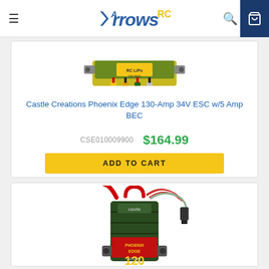Arrows RC — navigation bar with menu, logo, search, and cart icons
[Figure (photo): Castle Creations Phoenix Edge 130-Amp 34V ESC product photo — small green and yellow rectangular ESC unit with mounting tabs]
Castle Creations Phoenix Edge 130-Amp 34V ESC w/5 Amp BEC
CSE010009900   $164.99
ADD TO CART
[Figure (photo): Castle Creations Phoenix Edge 120 ESC product photo — dark green finned ESC unit with red power wire and servo connector cables, label reading Phoenix Edge 120]